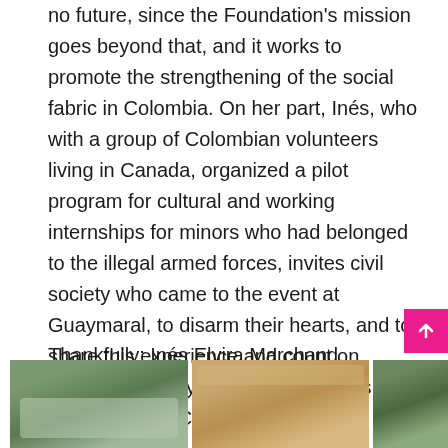no future, since the Foundation's mission goes beyond that, and it works to promote the strengthening of the social fabric in Colombia. On her part, Inés, who with a group of Colombian volunteers living in Canada, organized a pilot program for cultural and working internships for minors who had belonged to the illegal armed forces, invites civil society who came to the event at Guaymaral, to disarm their hearts, and to share this experience and count on Agape as an ally to bring down walls of indifference in Colombian society.
Thankfully: Inés Elvira Marchand,
[Figure (photo): Three photos showing group scenes, possibly outdoor events or gatherings related to the Foundation's work in Colombia.]